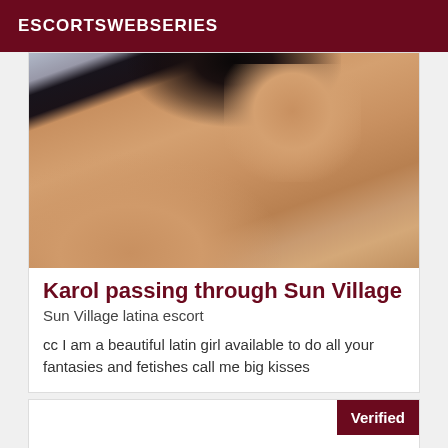ESCORTSWEBSERIES
[Figure (photo): Partial body photo of a woman in black lingerie]
Karol passing through Sun Village
Sun Village latina escort
cc I am a beautiful latin girl available to do all your fantasies and fetishes call me big kisses
Verified